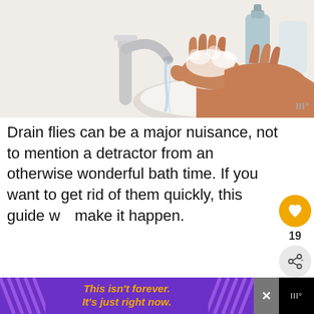[Figure (photo): Person washing hands with soap under a running faucet at a white bathroom sink, with a chrome faucet visible on the left and soap dispensers in the background.]
Drain flies can be a major nuisance, not to mention a detractor from an otherwise wonderful bath time. If you want to get rid of them quickly, this guide will make it happen.
[Figure (infographic): Partial infographic showing text 'HOW TO GET RID OF' on a dark circular background, partially visible at the bottom of the page, with a 'WHAT'S NEXT' overlay showing 'How To Get Rid Of Kilz...' and an ad banner at the bottom reading 'This isn't forever. It's just right now.']